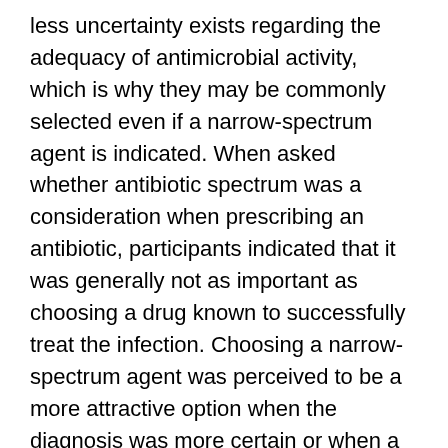less uncertainty exists regarding the adequacy of antimicrobial activity, which is why they may be commonly selected even if a narrow-spectrum agent is indicated. When asked whether antibiotic spectrum was a consideration when prescribing an antibiotic, participants indicated that it was generally not as important as choosing a drug known to successfully treat the infection. Choosing a narrow-spectrum agent was perceived to be a more attractive option when the diagnosis was more certain or when a patient was perceived to have a benign clinical condition.
PCPs commonly perceived that patients expect an antibiotic for clinical visits, contributing to a shared feeling of pressure among PCPs to satisfy patients. Concern was further expressed that patient satisfaction scores are a common method by which